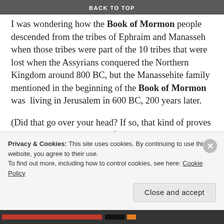BACK TO TOP
I was wondering how the Book of Mormon people descended from the tribes of Ephraim and Manasseh when those tribes were part of the 10 tribes that were lost when the Assyrians conquered the Northern Kingdom around 800 BC, but the Manassehite family mentioned in the beginning of the Book of Mormon was living in Jerusalem in 600 BC, 200 years later.
(Did that go over your head? If so, that kind of proves my point. How could 23yo farm boy Joseph Smith have thought of something that minor?)
Anyway, I found the answer in 1 Chronicles in an obscure
Privacy & Cookies: This site uses cookies. By continuing to use this website, you agree to their use.
To find out more, including how to control cookies, see here: Cookie Policy
Close and accept